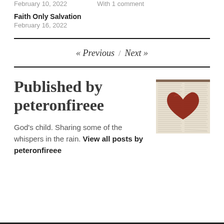February 10, 2022   With 1 comment
Faith Only Salvation
February 16, 2022
« Previous / Next »
Published by peteronfireee
[Figure (photo): A red clay or ceramic heart shape resting on an open Bible page with dense text columns visible beneath it.]
God's child. Sharing some of the whispers in the rain. View all posts by peteronfireee